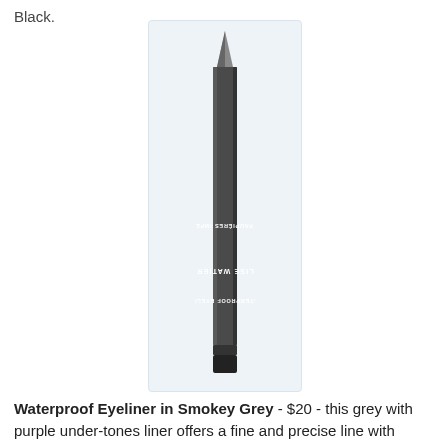Black.
[Figure (photo): A Lise Watier Waterproof Eyeliner pencil in Smokey Grey, shown vertically with the pointed tip at top, displayed in a light blue-bordered box. The pencil is dark grey/charcoal colored with white text reading 'TRACEUR PAUPIÈRES IMPERMÉABLE - WATERPROOF EYELINER LISE WATIER' running along its length.]
Waterproof Eyeliner in Smokey Grey - $20 - this grey with purple under-tones liner offers a fine and precise line with